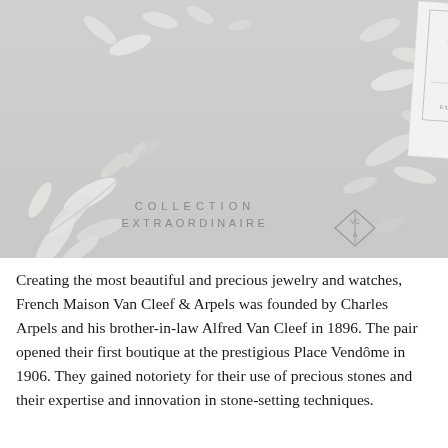[Figure (photo): A white perfume box labeled 'SANTAL BLANC No 2604170 COLLECTION EXTRAORDINAIRE' surrounded by white paper petals/leaves on a light grey surface. Text 'COLLECTION EXTRAORDINAIRE' and Van Cleef & Arpels diamond logo appear in the lower portion of the image.]
Creating the most beautiful and precious jewelry and watches, French Maison Van Cleef & Arpels was founded by Charles Arpels and his brother-in-law Alfred Van Cleef in 1896. The pair opened their first boutique at the prestigious Place Vendôme in 1906. They gained notoriety for their use of precious stones and their expertise and innovation in stone-setting techniques.